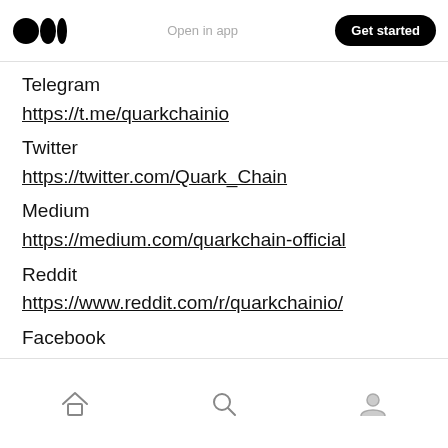Open in app | Get started
Telegram
https://t.me/quarkchainio
Twitter
https://twitter.com/Quark_Chain
Medium
https://medium.com/quarkchain-official
Reddit
https://www.reddit.com/r/quarkchainio/
Facebook
https://www.facebook.com/quarkchain/
Home | Search | Profile